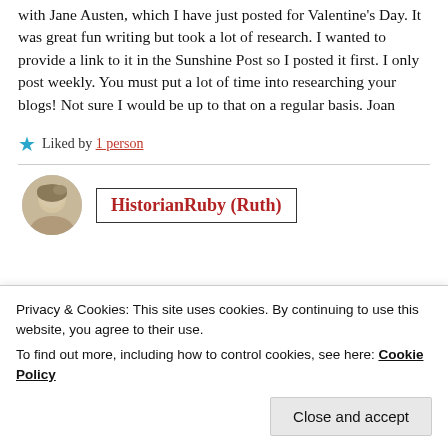with Jane Austen, which I have just posted for Valentine's Day. It was great fun writing but took a lot of research. I wanted to provide a link to it in the Sunshine Post so I posted it first. I only post weekly. You must put a lot of time into researching your blogs! Not sure I would be up to that on a regular basis. Joan
★ Liked by 1 person
[Figure (photo): Avatar/profile photo of a person with light-colored hair]
HistorianRuby (Ruth)
Privacy & Cookies: This site uses cookies. By continuing to use this website, you agree to their use.
To find out more, including how to control cookies, see here: Cookie Policy